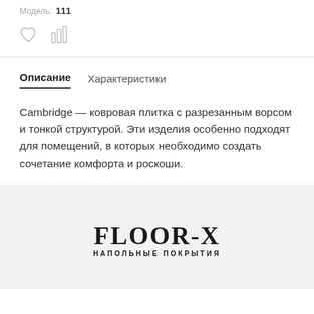Модель: 111
[Figure (other): Heart icon (favorite) and bar chart icon (compare)]
Описание   Характеристики
Cambridge — ковровая плитка с разрезанным ворсом и тонкой структурой. Эти изделия особенно подходят для помещений, в которых необходимо создать сочетание комфорта и роскоши.
[Figure (logo): FLOOR-X НАПОЛЬНЫЕ ПОКРЫТИЯ logo]